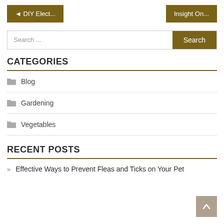◄ DIY Elect...
Insight On...
Search ...
CATEGORIES
Blog
Gardening
Vegetables
RECENT POSTS
Effective Ways to Prevent Fleas and Ticks on Your Pet